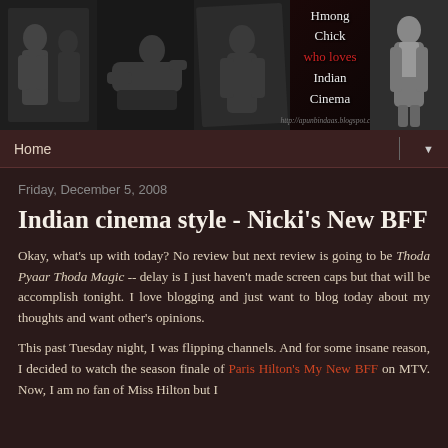[Figure (photo): Blog header banner with Bollywood actor photos on left, blog title 'Hmong Chick who loves Indian Cinema' in center, single actor photo on right]
Home
Friday, December 5, 2008
Indian cinema style - Nicki's New BFF
Okay, what's up with today? No review but next review is going to be Thoda Pyaar Thoda Magic -- delay is I just haven't made screen caps but that will be accomplish tonight. I love blogging and just want to blog today about my thoughts and want other's opinions.
This past Tuesday night, I was flipping channels. And for some insane reason, I decided to watch the season finale of Paris Hilton's My New BFF on MTV. Now, I am no fan of Miss Hilton but I